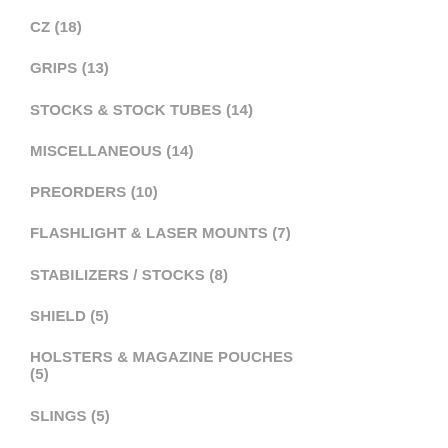CZ (18)
GRIPS (13)
STOCKS & STOCK TUBES (14)
MISCELLANEOUS (14)
PREORDERS (10)
FLASHLIGHT & LASER MOUNTS (7)
STABILIZERS / STOCKS (8)
SHIELD (5)
HOLSTERS & MAGAZINE POUCHES (5)
SLINGS (5)